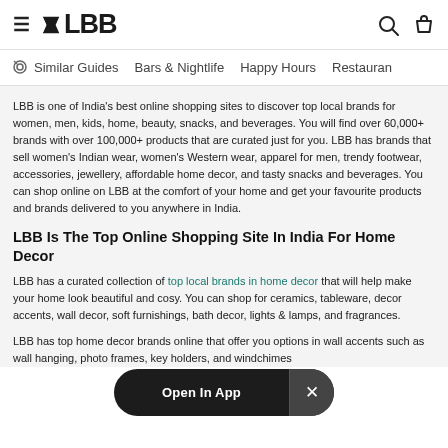LBB — navigation header with hamburger menu, LBB logo, search and bag icons
Similar Guides | Bars & Nightlife | Happy Hours | Restaurants
LBB is one of India's best online shopping sites to discover top local brands for women, men, kids, home, beauty, snacks, and beverages. You will find over 60,000+ brands with over 100,000+ products that are curated just for you. LBB has brands that sell women's Indian wear, women's Western wear, apparel for men, trendy footwear, accessories, jewellery, affordable home decor, and tasty snacks and beverages. You can shop online on LBB at the comfort of your home and get your favourite products and brands delivered to you anywhere in India.
LBB Is The Top Online Shopping Site In India For Home Decor
LBB has a curated collection of top local brands in home decor that will help make your home look beautiful and cosy. You can shop for ceramics, tableware, decor accents, wall decor, soft furnishings, bath decor, lights & lamps, and fragrances.
LBB has top home decor brands online that offer you options in wall accents such as wall hanging, photo frames, key holders, and windchimes